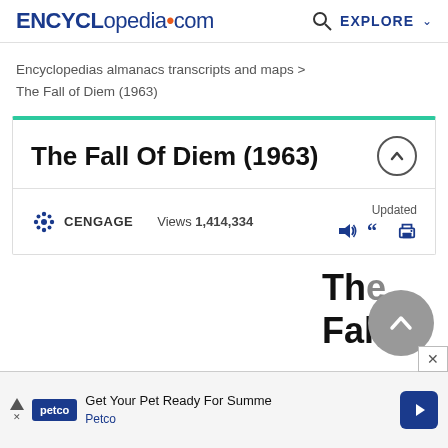ENCYCLopedia•com   EXPLORE
Encyclopedias almanacs transcripts and maps > The Fall of Diem (1963)
The Fall Of Diem (1963)
CENGAGE   Views 1,414,334   Updated
[Figure (screenshot): Scroll-to-top circular button overlay and partial cut-off text reading 'The Fall' at bottom right]
[Figure (other): Advertisement banner: Petco - Get Your Pet Ready For Summe / Petco, with navigation arrow icon and close button]